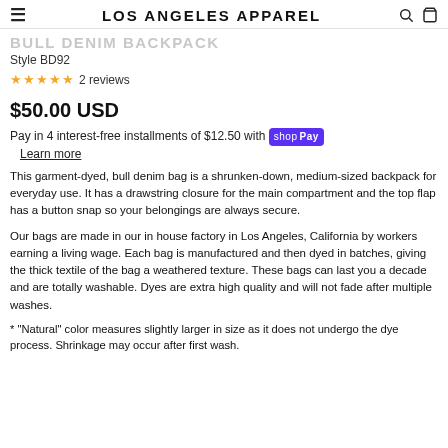LOS ANGELES APPAREL
BULL DENIM BACKPACK
Style BD92
★★★★★ 2 reviews
$50.00 USD
Pay in 4 interest-free installments of $12.50 with Shop Pay
Learn more
This garment-dyed, bull denim bag is a shrunken-down, medium-sized backpack for everyday use. It has a drawstring closure for the main compartment and the top flap has a button snap so your belongings are always secure.
Our bags are made in our in house factory in Los Angeles, California by workers earning a living wage. Each bag is manufactured and then dyed in batches, giving the thick textile of the bag a weathered texture. These bags can last you a decade and are totally washable. Dyes are extra high quality and will not fade after multiple washes.
* "Natural" color measures slightly larger in size as it does not undergo the dye process. Shrinkage may occur after first wash.